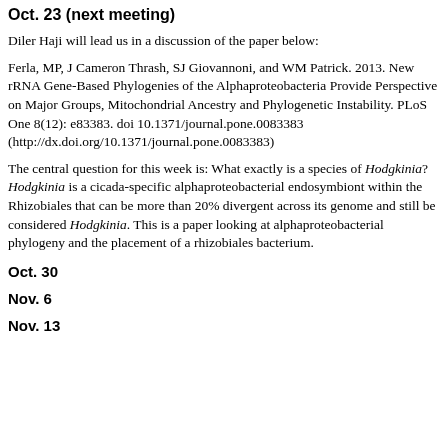Oct. 23 (next meeting)
Diler Haji will lead us in a discussion of the paper below:
Ferla, MP, J Cameron Thrash, SJ Giovannoni, and WM Patrick. 2013. New rRNA Gene-Based Phylogenies of the Alphaproteobacteria Provide Perspective on Major Groups, Mitochondrial Ancestry and Phylogenetic Instability. PLoS One 8(12): e83383. doi 10.1371/journal.pone.0083383 (http://dx.doi.org/10.1371/journal.pone.0083383)
The central question for this week is: What exactly is a species of Hodgkinia? Hodgkinia is a cicada-specific alphaproteobacterial endosymbiont within the Rhizobiales that can be more than 20% divergent across its genome and still be considered Hodgkinia. This is a paper looking at alphaproteobacterial phylogeny and the placement of a rhizobiales bacterium.
Oct. 30
Nov. 6
Nov. 13